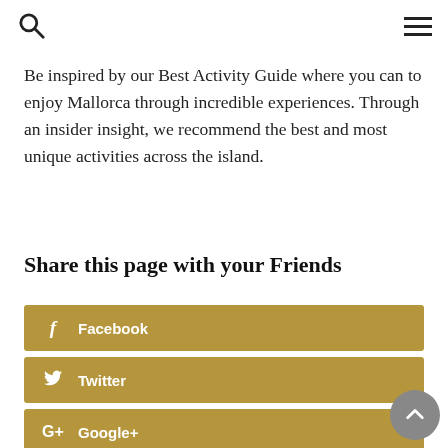[search icon] [menu icon]
Be inspired by our Best Activity Guide where you can to enjoy Mallorca through incredible experiences. Through an insider insight, we recommend the best and most unique activities across the island.
Share this page with your Friends
Facebook
Twitter
Google+
LinkedIn